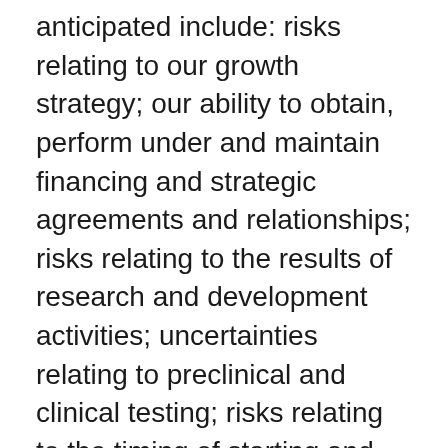anticipated include: risks relating to our growth strategy; our ability to obtain, perform under and maintain financing and strategic agreements and relationships; risks relating to the results of research and development activities; uncertainties relating to preclinical and clinical testing; risks relating to the timing of starting and completing clinical trials; our dependence on third-party suppliers; risks relating to the COVID-19 outbreak and its potential impact on our employees' and consultants' ability to complete work in a timely manner and on our ability to obtain additional financing on favorable terms or at all;  our ability to attract, integrate and retain key personnel; the selection of our laboratory